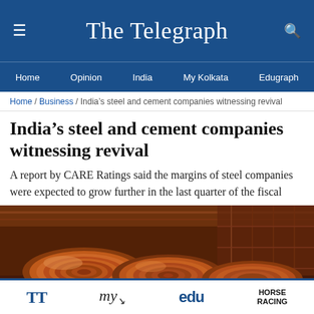The Telegraph
Home / Opinion / India / My Kolkata / Edugraph
Home / Business / India’s steel and cement companies witnessing revival
India’s steel and cement companies witnessing revival
A report by CARE Ratings said the margins of steel companies were expected to grow further in the last quarter of the fiscal
[Figure (photo): Large coils of steel sheet metal in an industrial factory setting with warm orange lighting]
TT / my / edu / HORSE RACING